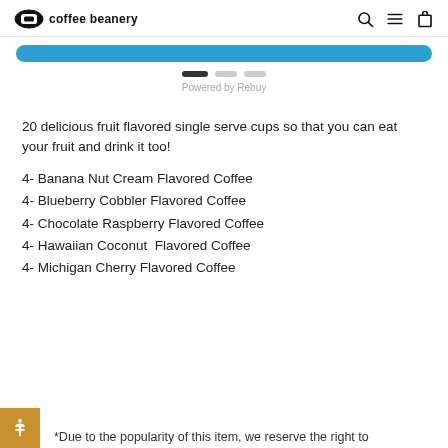coffee beanery
[Figure (other): Blue button bar (carousel/slider indicator with dots) and 'Powered by Rebuy' text]
20 delicious fruit flavored single serve cups so that you can eat your fruit and drink it too!
4- Banana Nut Cream Flavored Coffee
4- Blueberry Cobbler Flavored Coffee
4- Chocolate Raspberry Flavored Coffee
4- Hawaiian Coconut  Flavored Coffee
4- Michigan Cherry Flavored Coffee
*Due to the popularity of this item, we reserve the right to